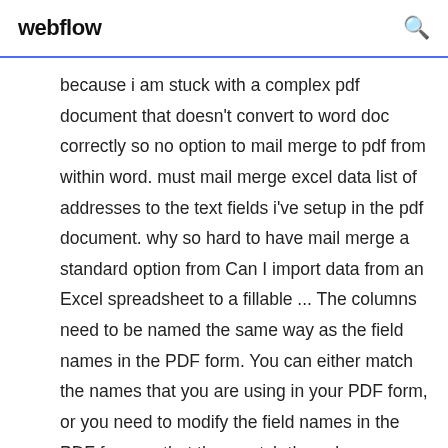webflow
because i am stuck with a complex pdf document that doesn't convert to word doc correctly so no option to mail merge to pdf from within word. must mail merge excel data list of addresses to the text fields i've setup in the pdf document. why so hard to have mail merge a standard option from Can I import data from an Excel spreadsheet to a fillable ... The columns need to be named the same way as the field names in the PDF form. You can either match the names that you are using in your PDF form, or you need to modify the field names in the PDF form so that they match the column names in Excel.